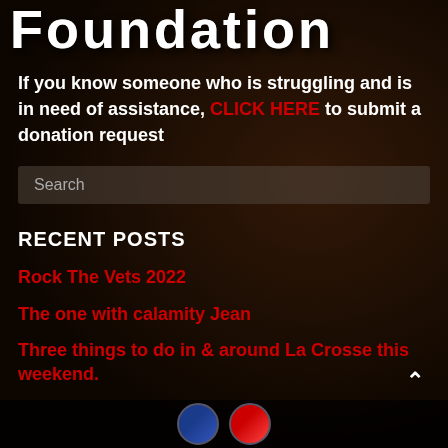Foundation
If you know someone who is struggling and is in need of assistance, CLICK HERE to submit a donation request
Search
RECENT POSTS
Rock The Vets 2022
The one with calamity Jean
Three things to do in & around La Crosse this weekend.